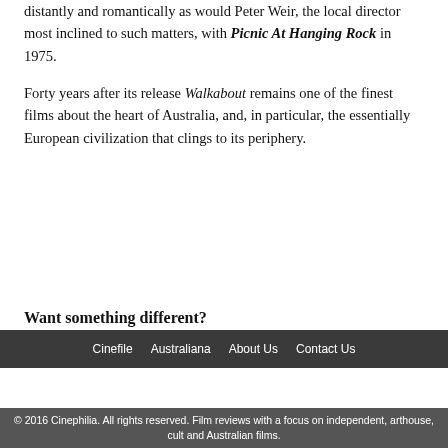distantly and romantically as would Peter Weir, the local director most inclined to such matters, with Picnic At Hanging Rock in 1975.
Forty years after its release Walkabout remains one of the finest films about the heart of Australia, and, in particular, the essentially European civilization that clings to its periphery.
Want something different?
Cinefile   Australiana   About Us   Contact Us
© 2016 Cinephilia. All rights reserved. Film reviews with a focus on independent, arthouse, cult and Australian films.